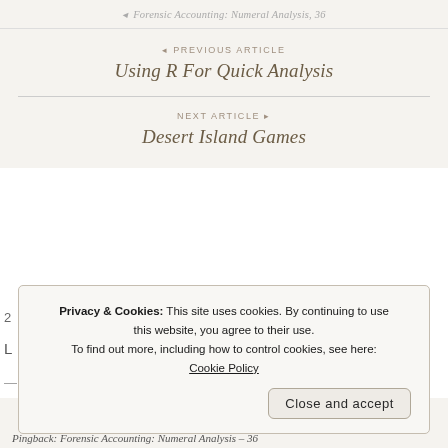◂ PREVIOUS ARTICLE
Using R For Quick Analysis
NEXT ARTICLE ▸
Desert Island Games
Privacy & Cookies: This site uses cookies. By continuing to use this website, you agree to their use.
To find out more, including how to control cookies, see here: Cookie Policy
Close and accept
Pingback: Forensic Accounting: Numeral Analysis – 36